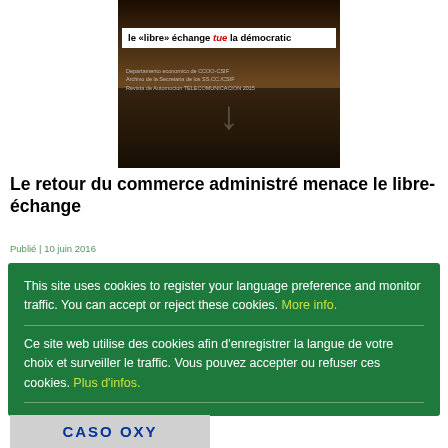[Figure (photo): Protest photo showing people holding a banner that reads 'le «libre» échange tue la démocratie']
Le retour du commerce administré menace le libre-échange
This site uses cookies to register your language preference and monitor traffic. You can accept or reject these cookies. More info.
Ce site web utilise des cookies afin d'enregistrer la langue de votre choix et surveiller le traffic. Vous pouvez accepter ou refuser ces cookies. Plus d'infos.
Este sitio web utiliza cookies con el objetivo de registrar su idioma preferido y controlar el tráfico. Puede aceptar o rechazar estas cookies. Mayor información.
[Figure (photo): Partial image at bottom showing 'CASO OXY' text]